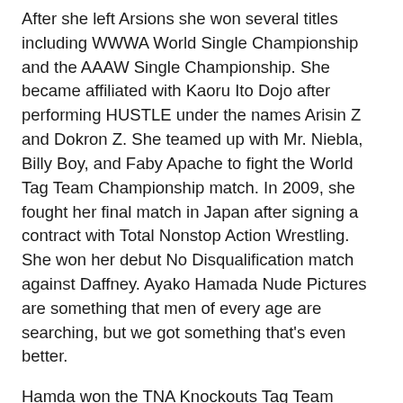After she left Arsions she won several titles including WWWA World Single Championship and the AAAW Single Championship. She became affiliated with Kaoru Ito Dojo after performing HUSTLE under the names Arisin Z and Dokron Z. She teamed up with Mr. Niebla, Billy Boy, and Faby Apache to fight the World Tag Team Championship match. In 2009, she fought her final match in Japan after signing a contract with Total Nonstop Action Wrestling. She won her debut No Disqualification match against Daffney. Ayako Hamada Nude Pictures are something that men of every age are searching, but we got something that's even better.
Hamda won the TNA Knockouts Tag Team Championship with Taylor Wilde defeating The Beautiful People. Hamada made a comeback in Shimmer defeating Tomoka Nakagawa. Ayako won the elimination tag team match, teaming up with Ayumi Kurihara, Cheerleader Melissa, and Serena Deeb. In 2010, she defeated Rachel Summerlyn making debut for Jersey All Pro Wrestling